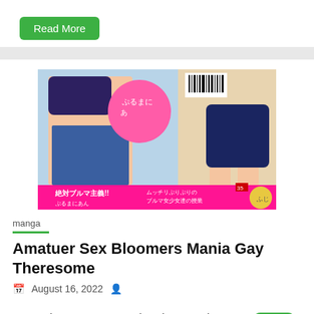Read More
[Figure (illustration): Manga book cover showing anime-style characters with Japanese text including '絶対ブルマ主義!!' on a pink banner at the bottom]
manga
Amatuer Sex Bloomers Mania Gay Theresome
August 16, 2022
Categories: Manga Tags: Blmanian Hentai, Manga Hentai, Big breasts Hentai, Group Hentai, Anal Hentai, Schoolgirl